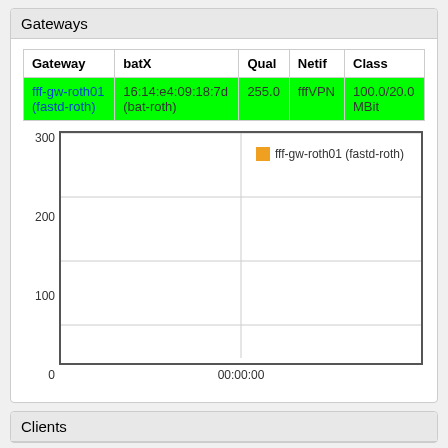Gateways
| Gateway | batX | Qual | Netif | Class |
| --- | --- | --- | --- | --- |
| fff-gw-roth01 (fastd-roth) | 16:14:e4:09:18:7d (bat-roth) | 255.0 | fffVPN | 100.0/20.0 MBit |
[Figure (line-chart): ]
Clients